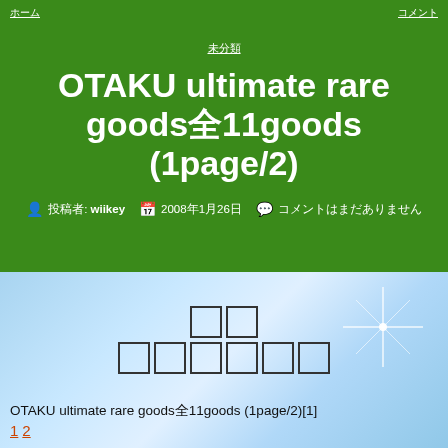ホーム　　　　　　　　　　　コメント
未分類
OTAKU ultimate rare goods全11goods (1page/2)
投稿者: wiikey　2008年1月26日　コメントはまだありません
[Figure (other): Blue gradient background with sparkle/star light effect and two rows of Japanese placeholder boxes]
OTAKU ultimate rare goods全11goods (1page/2)[1]
1 2